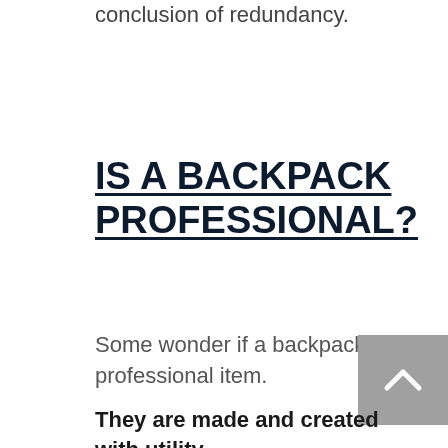conclusion of redundancy.
IS A BACKPACK PROFESSIONAL?
Some wonder if a backpack is a professional item.
They are made and created with utility